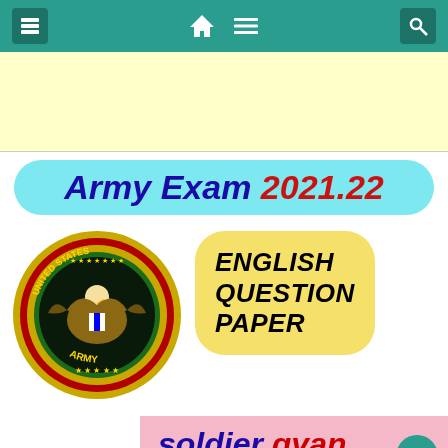Navigation bar with home, menu, and search icons
[Figure (other): Light yellow advertisement banner area]
Army Exam 2021.22
[Figure (logo): United States Army circular seal with eagle, stars, and text UNITED STATES ARMY]
ENGLISH QUESTION PAPER
soldier gyan
Uncategorized